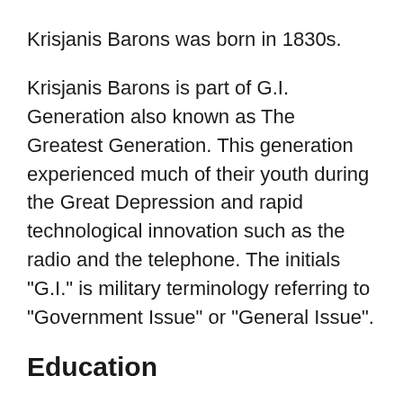Krisjanis Barons was born in 1830s.
Krisjanis Barons is part of G.I. Generation also known as The Greatest Generation. This generation experienced much of their youth during the Great Depression and rapid technological innovation such as the radio and the telephone. The initials "G.I." is military terminology referring to "Government Issue" or "General Issue".
Education
Krisjanis's education details are not available